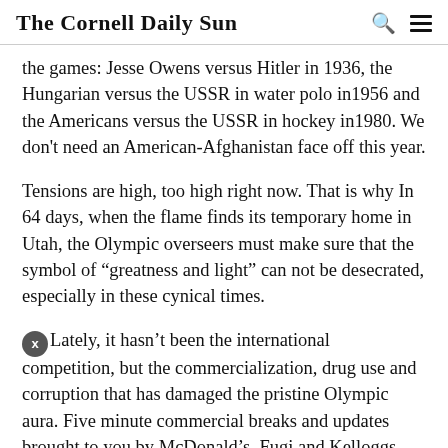The Cornell Daily Sun
the games: Jesse Owens versus Hitler in 1936, the Hungarian versus the USSR in water polo in1956 and the Americans versus the USSR in hockey in1980. We don’t need an American-Afghanistan face off this year.
Tensions are high, too high right now. That is why In 64 days, when the flame finds its temporary home in Utah, the Olympic overseers must make sure that the symbol of “greatness and light” can not be desecrated, especially in these cynical times.
Lately, it hasn’t been the international competition, but the commercialization, drug use and corruption that has damaged the pristine Olympic aura. Five minute commercial breaks and updates brought to you by McDonald’s, Fugi and Kelloggs suggest the monetary gains made through the events. Medals are revoked after